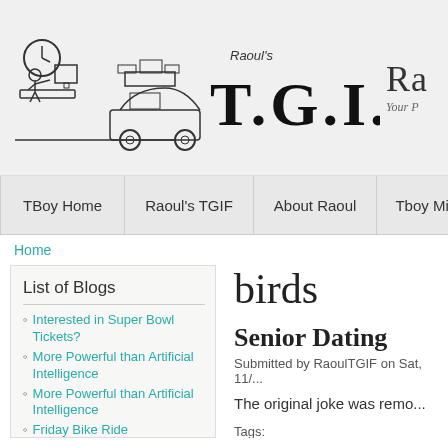[Figure (illustration): Raoul's TGIF website header with hand-drawn illustrations of a person at a desk and a car loaded with luggage, plus the stylized 'T.G.I.F.' logo text and 'Raoul's' above it. Partially visible site name 'Ra...' and tagline 'Your P...' on the right.]
TBoy Home | Raoul's TGIF | About Raoul | Tboy Mission | Visit T
Home
List of Blogs
Interested in Super Bowl Tickets?
More Powerful than Artificial Intelligence
More Powerful than Artificial Intelligence
Friday Bike Ride
If I Die First
Rules for Sons
Now That I Am Older
birds
Senior Dating
Submitted by RaoulTGIF on Sat, 11/...
The original joke was remo...
Tags:
doctor   pranks   funeral   South Africa...   hummingbirds   birds